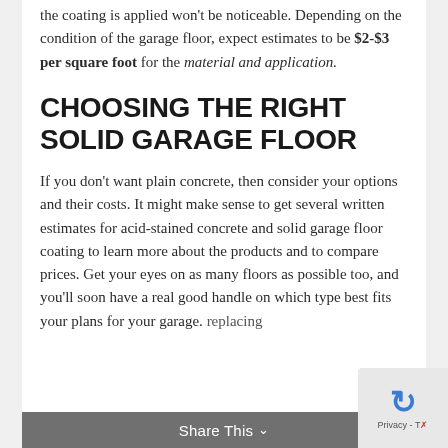the coating is applied won't be noticeable. Depending on the condition of the garage floor, expect estimates to be $2-$3 per square foot for the material and application.
CHOOSING THE RIGHT SOLID GARAGE FLOOR
If you don't want plain concrete, then consider your options and their costs. It might make sense to get several written estimates for acid-stained concrete and solid garage floor coating to learn more about the products and to compare prices. Get your eyes on as many floors as possible too, and you'll soon have a real good handle on which type best fits your plans for your garage. replacing